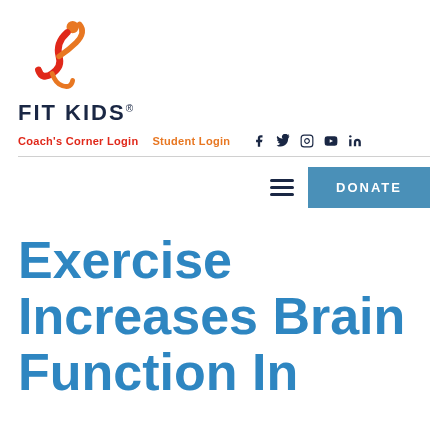[Figure (logo): Fit Kids logo: orange and red swirl figure icon above bold dark blue FIT KIDS text]
Coach's Corner Login  Student Login  [social icons: Facebook, Twitter, Instagram, YouTube, LinkedIn]
DONATE
Exercise Increases Brain Function In